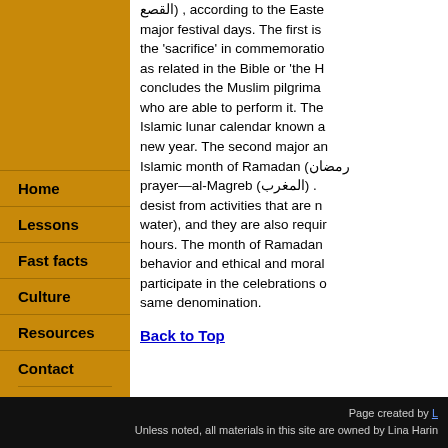(القصع), according to the Eastern... major festival days. The first is the 'sacrifice' in commemoration as related in the Bible or 'the H... concludes the Muslim pilgrimage who are able to perform it. The Islamic lunar calendar known as new year. The second major an... Islamic month of Ramadan (رمضان) prayer—al-Magreb (المغرب). desist from activities that are n... water), and they are also requir... hours. The month of Ramadan behavior and ethical and moral participate in the celebrations o... same denomination.
Home
Lessons
Fast facts
Culture
Resources
Contact
Back to Top
Page created by Lina Harin... Unless noted, all materials in this site are owned by Lina Harin...